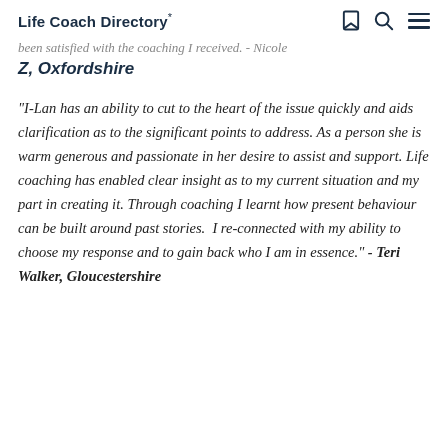Life Coach Directory*
been satisfied with the coaching I received. - Nicole Z, Oxfordshire
"I-Lan has an ability to cut to the heart of the issue quickly and aids clarification as to the significant points to address. As a person she is warm generous and passionate in her desire to assist and support. Life coaching has enabled clear insight as to my current situation and my part in creating it. Through coaching I learnt how present behaviour can be built around past stories.  I re-connected with my ability to choose my response and to gain back who I am in essence." - Teri Walker, Gloucestershire